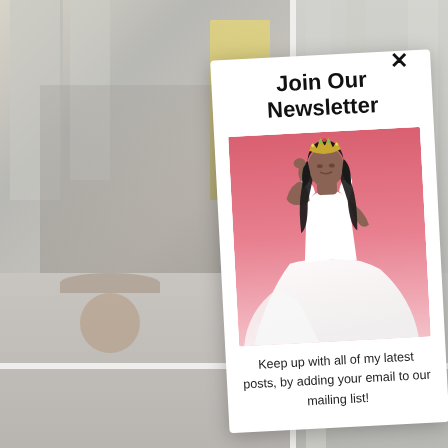[Figure (photo): Background showing a fashion blog photo grid - outdoor scenes with person in yellow dress, architectural columns, person posing]
Join Our Newsletter
[Figure (photo): Photo of a woman wearing a crown and white flowing dress on a pink background]
Keep up with all of my latest posts, by adding your email to our mailing list!